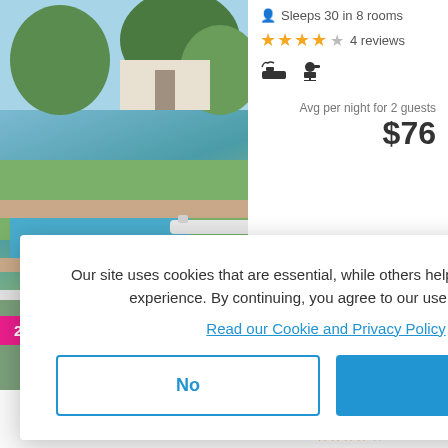Sleeps 30 in 8 rooms
★★★★☆ 4 reviews
Avg per night for 2 guests $76
25% OFF
Andelomi Nature's Rest
Stormsriver Village Bed and Breakfast
Sleeps 12 in 5 rooms
★★★★★ 1 review
Our site uses cookies that are essential, while others help us to improve your experience. By continuing, you agree to our use of cookies.
Read our Cookie and Privacy Policy
No
Yes
Filters
★★★★☆ 6 reviews